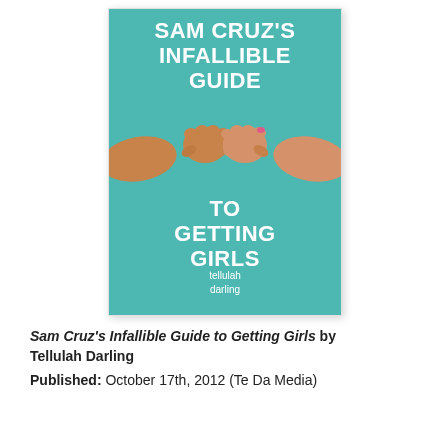[Figure (illustration): Book cover for 'Sam Cruz's Infallible Guide to Getting Girls' by Tellulah Darling. Teal/turquoise background with large white bold uppercase title text. Two hands (one from left, one from right) meeting in a fist-bump or pinky-link gesture in the center. Author name 'tellulah darling' in lowercase white text at the bottom.]
Sam Cruz's Infallible Guide to Getting Girls by Tellulah Darling
Published: October 17th, 2012 (Te Da Media)